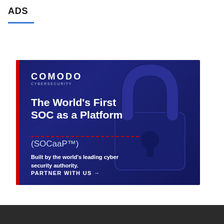ADS
[Figure (illustration): Comodo Cybersecurity advertisement banner with dark blue background and padlock icon. Text reads: 'The World's First SOC as a Platform (SOCaaP™). Built by the world's leading cyber security authority. PARTNER WITH US →']